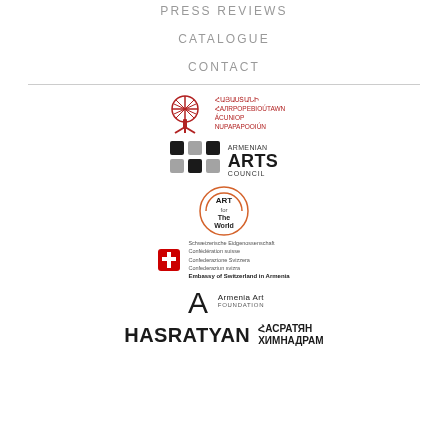PRESS REVIEWS
CATALOGUE
CONTACT
[Figure (logo): Armenian Ministry of Culture logo with tree emblem and Armenian script text]
[Figure (logo): Armenian Arts Council logo with grid squares and stylized ARTS text]
[Figure (logo): Art for The World circular logo]
[Figure (logo): Swiss Confederation / Embassy of Switzerland in Armenia logo with red shield]
[Figure (logo): Armenia Art Foundation logo with A lettermark]
[Figure (logo): HASRATYAN / ՀԱՍՐԱԹՅԱՆ ՀԻМНАДРАМ logo in large black text]